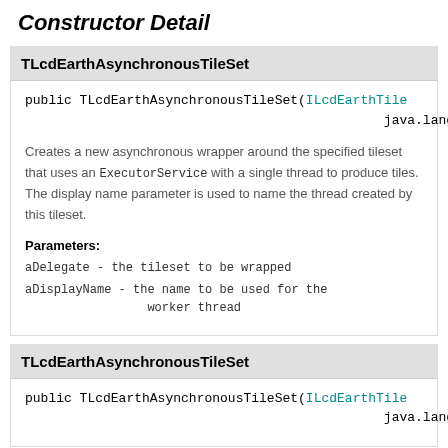Constructor Detail
TLcdEarthAsynchronousTileSet
public TLcdEarthAsynchronousTileSet(ILcdEarthTile... java.lang.Str...
Creates a new asynchronous wrapper around the specified tileset that uses an ExecutorService with a single thread to produce tiles. The display name parameter is used to name the thread created by this tileset.
Parameters:
aDelegate - the tileset to be wrapped
aDisplayName - the name to be used for the worker thread
TLcdEarthAsynchronousTileSet
public TLcdEarthAsynchronousTileSet(ILcdEarthTile... java.lang.Str...